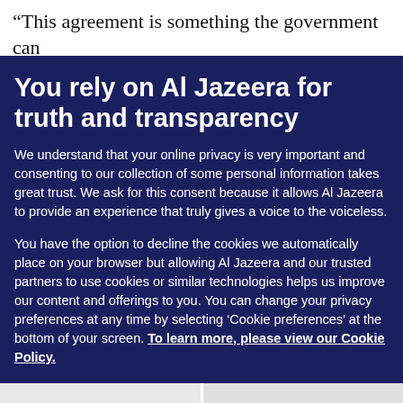“This agreement is something the government can
You rely on Al Jazeera for truth and transparency
We understand that your online privacy is very important and consenting to our collection of some personal information takes great trust. We ask for this consent because it allows Al Jazeera to provide an experience that truly gives a voice to the voiceless.
You have the option to decline the cookies we automatically place on your browser but allowing Al Jazeera and our trusted partners to use cookies or similar technologies helps us improve our content and offerings to you. You can change your privacy preferences at any time by selecting ‘Cookie preferences’ at the bottom of your screen. To learn more, please view our Cookie Policy.